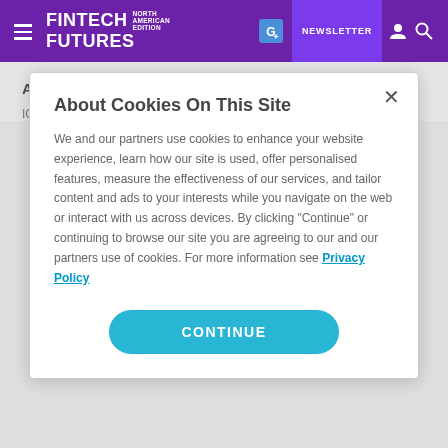FINTECH FUTURES NORTH AMERICAN EDITION | NEWSLETTER
About ICE Mortgage Technology
ICE Mortgage Technology...
About Cookies On This Site
We and our partners use cookies to enhance your website experience, learn how our site is used, offer personalised features, measure the effectiveness of our services, and tailor content and ads to your interests while you navigate on the web or interact with us across devices. By clicking "Continue" or continuing to browse our site you are agreeing to our and our partners use of cookies. For more information see Privacy Policy
CONTINUE